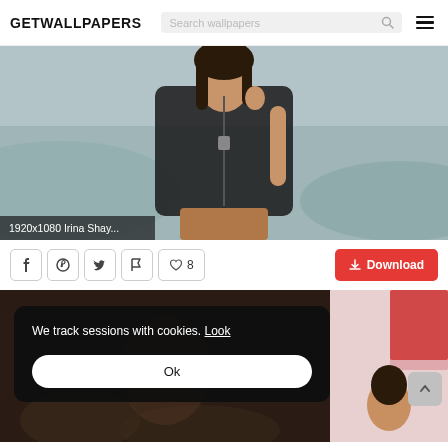GETWALLPAPERS
[Figure (screenshot): Screenshot of getwallpapers.com showing a wallpaper of Irina Shayk (1920x1080) in a black leather jacket, with search bar, social sharing icons, download button, and a cookie consent overlay reading 'We track sessions with cookies. Look' with an 'Ok' button.]
1920x1080 Irina Shay...
8
Download
We track sessions with cookies. Look
Ok